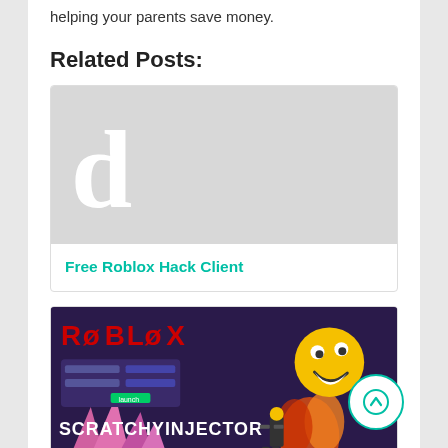helping your parents save money.
Related Posts:
[Figure (illustration): Gray placeholder card image with a large white letter 'd' on the left side]
Free Roblox Hack Client
[Figure (illustration): Roblox-themed image with dark purple background, red ROBLOX text, a smiley face character, pink crystals, and SCRATCHYINJECTOR text in white]
Free Roblox Hack...